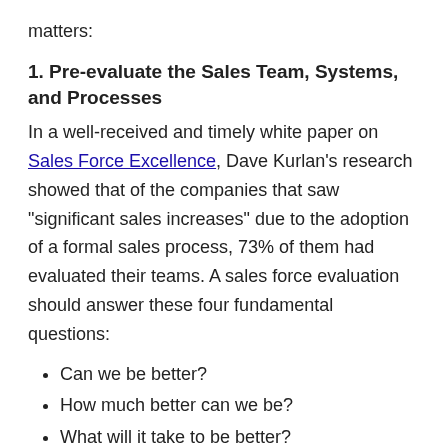matters:
1. Pre-evaluate the Sales Team, Systems, and Processes
In a well-received and timely white paper on Sales Force Excellence, Dave Kurlan's research showed that of the companies that saw "significant sales increases" due to the adoption of a formal sales process, 73% of them had evaluated their teams. A sales force evaluation should answer these four fundamental questions:
Can we be better?
How much better can we be?
What will it take to be better?
How long will it take?
Companies must find out why pipelines aren't full, why